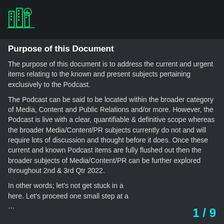Purpose of this Document
The purpose of this document is to address the current and urgent items relating to the known and present subjects pertaining exclusively to the Podcast.
The Podcast can be said to be located within the broader category of Media, Content and Public Relations and/or more. However, the Podcast is live with a clear, quantifiable & definitive scope whereas the broader Media/Content/PR subjects currently do not and will require lots of discussion and thought before it does. Once these current and known Podcast items are fully flushed out then the broader subjects of Media/Content/PR can be further explored throughout 2nd & 3rd Qtr 2022.
In other words; let's not get stuck in a… here. Let's proceed one small step at a… …
1 / 9